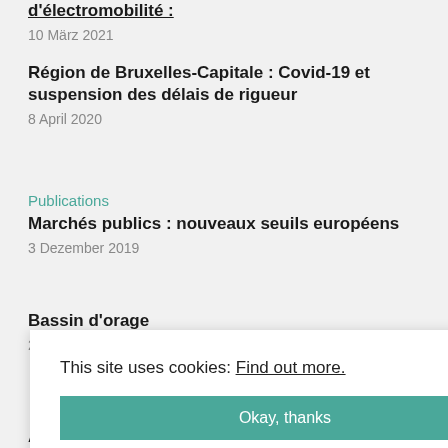d'électromobilité :
10 März 2021
Région de Bruxelles-Capitale : Covid-19 et suspension des délais de rigueur
8 April 2020
Publications
Marchés publics : nouveaux seuils européens
3 Dezember 2019
Bassin d'orage
21 Juni 2019
This site uses cookies: Find out more.
tion ou
Okay, thanks
Arrête Code wallon du Patrimoine